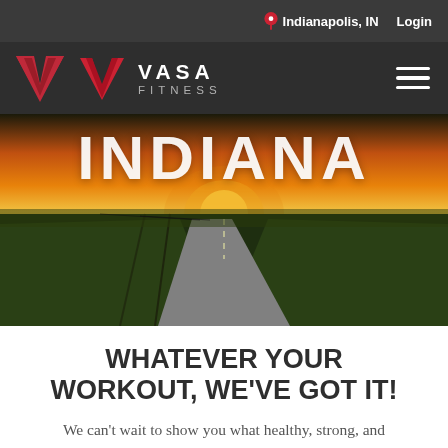Indianapolis, IN   Login
[Figure (logo): VASA FITNESS logo with red V chevron icon and white text VASA FITNESS on dark background, with hamburger menu on right]
[Figure (photo): Aerial view of a straight rural road through green fields at sunset with dramatic orange and yellow sky. Large white text INDIANA overlaid on top portion of image.]
WHATEVER YOUR WORKOUT, WE'VE GOT IT!
We can't wait to show you what healthy, strong, and happy is like at VASA!